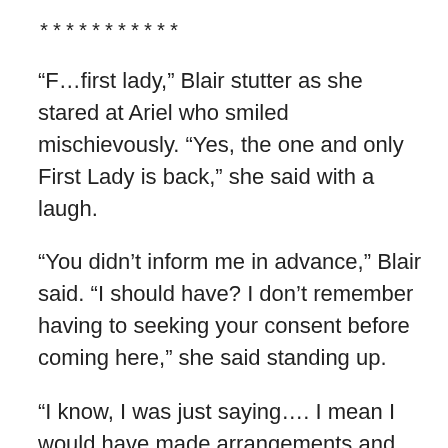***********
“F…first lady,” Blair stutter as she stared at Ariel who smiled mischievously. “Yes, the one and only First Lady is back,” she said with a laugh.
“You didn’t inform me in advance,” Blair said. “I should have? I don’t remember having to seeking your consent before coming here,” she said standing up.
“I know, I was just saying…. I mean I would have made arrangements and inform Her Grace in advance to avoid confusion,” she lied.
“Her Grace? Ho…